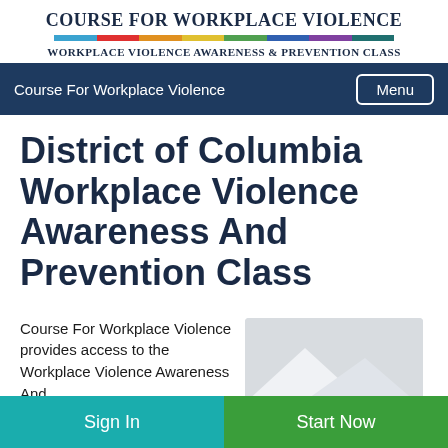Course For Workplace Violence
Workplace Violence Awareness & Prevention Class
Course For Workplace Violence
District of Columbia Workplace Violence Awareness And Prevention Class
Course For Workplace Violence provides access to the Workplace Violence Awareness And
[Figure (illustration): DC flag illustration showing white and red stars on a grey background]
Sign In
Start Now